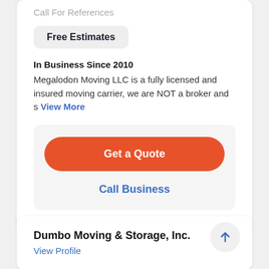Call For References
Free Estimates
In Business Since 2010
Megalodon Moving LLC is a fully licensed and insured moving carrier, we are NOT a broker and s View More
Get a Quote
Call Business
Dumbo Moving & Storage, Inc.
View Profile